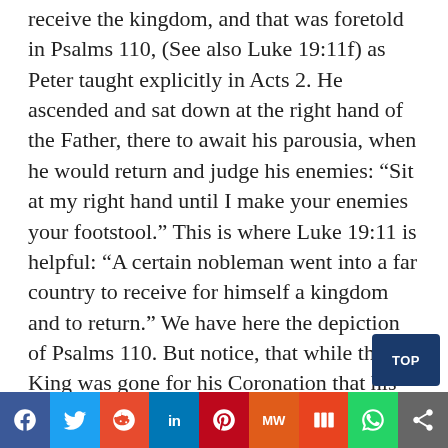receive the kingdom, and that was foretold in Psalms 110, (See also Luke 19:11f) as Peter taught explicitly in Acts 2. He ascended and sat down at the right hand of the Father, there to await his parousia, when he would return and judge his enemies: “Sit at my right hand until I make your enemies your footstool.” This is where Luke 19:11 is helpful: “A certain nobleman went into a far country to receive for himself a kingdom and to return.” We have here the depiction of Psalms 110. But notice, that while the King was gone for his Coronation that his “citizens” (some of them) rebelled